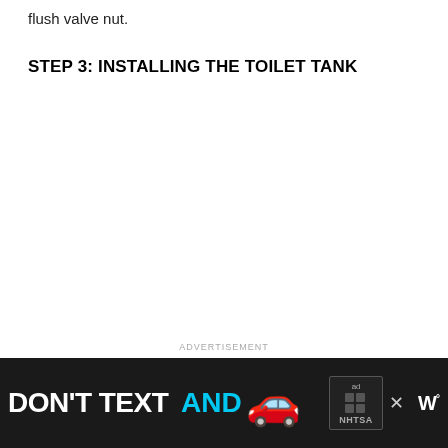flush valve nut.
STEP 3: INSTALLING THE TOILET TANK
[Figure (other): Advertisement banner: 'DON'T TEXT AND' with a red car emoji, NHTSA ad badge, close button, and Weatherbug logo. Dark background.]